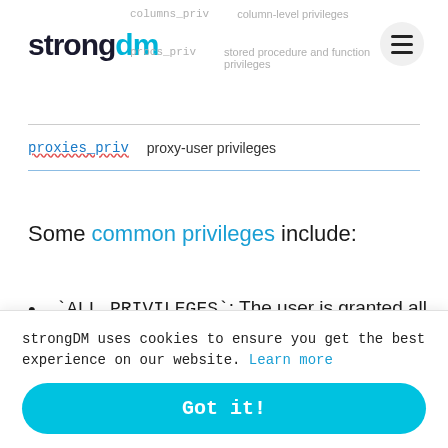strongdm
columns_priv   column-level privileges
procs_priv   stored procedure and function privileges
proxies_priv   proxy-user privileges
Some common privileges include:
`ALL PRIVILEGES`: The user is granted all privileges except GRANT OPTION and PROXY
strongDM uses cookies to ensure you get the best experience on our website. Learn more
Got it!